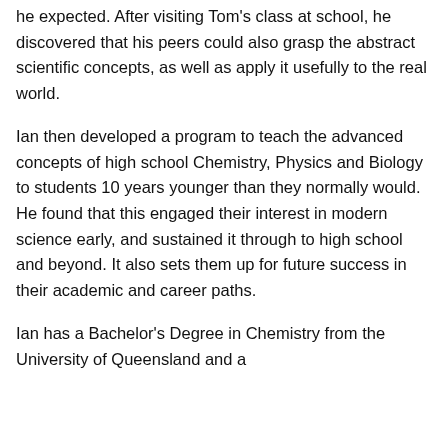he expected. After visiting Tom's class at school, he discovered that his peers could also grasp the abstract scientific concepts, as well as apply it usefully to the real world.
Ian then developed a program to teach the advanced concepts of high school Chemistry, Physics and Biology to students 10 years younger than they normally would. He found that this engaged their interest in modern science early, and sustained it through to high school and beyond. It also sets them up for future success in their academic and career paths.
Ian has a Bachelor's Degree in Chemistry from the University of Queensland and a